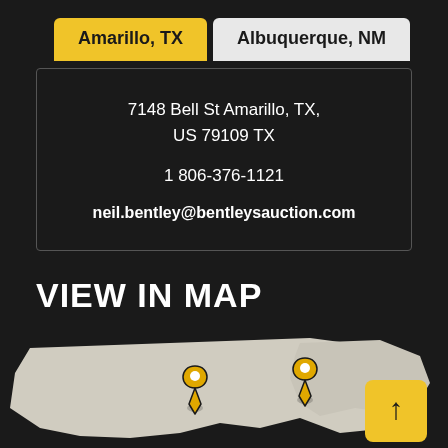Amarillo, TX
Albuquerque, NM
7148 Bell St Amarillo, TX, US 79109 TX
1 806-376-1121
neil.bentley@bentleysauction.com
VIEW IN MAP
[Figure (map): Simplified map showing two location pins over a regional map outline of Texas/New Mexico area, with a yellow arrow button in the bottom right.]